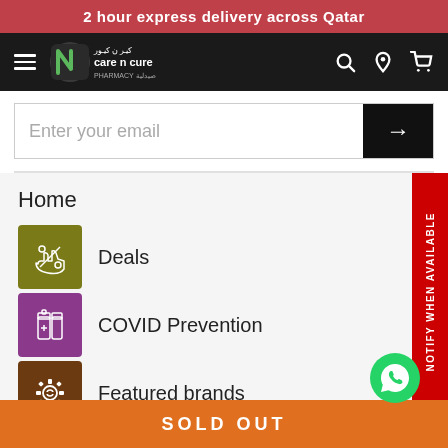2 hour express delivery across Qatar
[Figure (logo): Care n Cure Pharmacy logo with green N icon and Arabic text]
Enter your email
Home
Deals
COVID Prevention
Featured brands
NOTIFY WHEN AVAILABLE
SOLD OUT